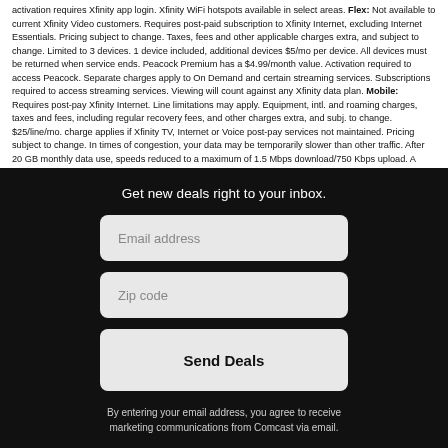activation requires Xfinity app login. Xfinity WiFi hotspots available in select areas. Flex: Not available to current Xfinity Video customers. Requires post-paid subscription to Xfinity Internet, excluding Internet Essentials. Pricing subject to change. Taxes, fees and other applicable charges extra, and subject to change. Limited to 3 devices. 1 device included, additional devices $5/mo per device. All devices must be returned when service ends. Peacock Premium has a $4.99/month value. Activation required to access Peacock. Separate charges apply to On Demand and certain streaming services. Subscriptions required to access streaming services. Viewing will count against any Xfinity data plan. Mobile: Requires post-pay Xfinity Internet. Line limitations may apply. Equipment, intl. and roaming charges, taxes and fees, including regular recovery fees, and other charges extra, and subj. to change. $25/line/mo. charge applies if Xfinity TV, Internet or Voice post-pay services not maintained. Pricing subject to change. In times of congestion, your data may be temporarily slower than other traffic. After 20 GB monthly data use, speeds reduced to a maximum of 1.5 Mbps download/750 Kbps upload. A minimum $15.00 charge
Get new deals right to your inbox.
[Figure (other): Email address input field (light gray rounded rectangle)]
[Figure (other): Zip code input field (light gray rounded rectangle)]
[Figure (other): Send Deals button (light gray rounded rectangle with bold text)]
By entering your email address, you agree to receive marketing communications from Comcast via email.